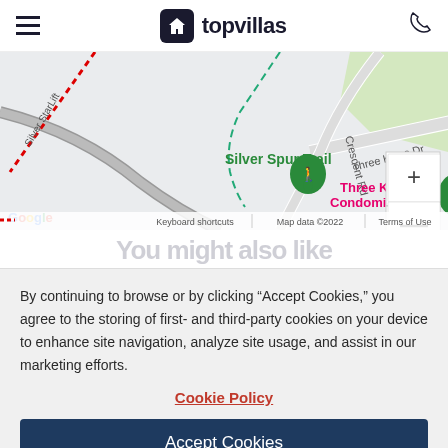topvillas
[Figure (map): Google Maps screenshot showing Silver Spur Trail, Three Kings Condominiums, Three Kings Dr, Crescent Rd area with zoom controls]
You might also like
By continuing to browse or by clicking “Accept Cookies,” you agree to the storing of first- and third-party cookies on your device to enhance site navigation, analyze site usage, and assist in our marketing efforts.
Cookie Policy
Accept Cookies